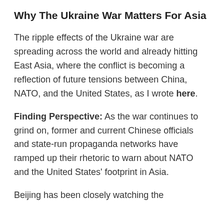Why The Ukraine War Matters For Asia
The ripple effects of the Ukraine war are spreading across the world and already hitting East Asia, where the conflict is becoming a reflection of future tensions between China, NATO, and the United States, as I wrote here.
Finding Perspective: As the war continues to grind on, former and current Chinese officials and state-run propaganda networks have ramped up their rhetoric to warn about NATO and the United States' footprint in Asia.
Beijing has been closely watching the